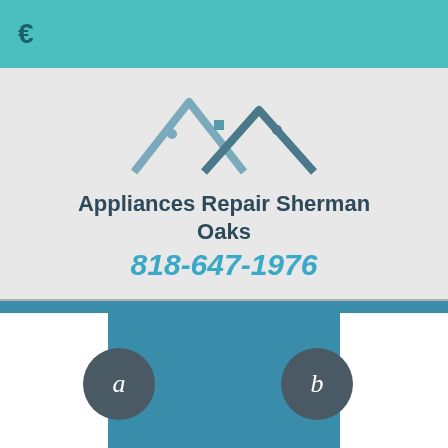€
[Figure (logo): House rooftop outline logo with three peaks in blue-gray tones]
Appliances Repair Sherman Oaks
818-647-1976
[Figure (infographic): Teal banner with two white boxes on sides and two dark circular buttons labeled 'a' and 'b']
APPLIANCE REPAIR SHERMAN OAKS